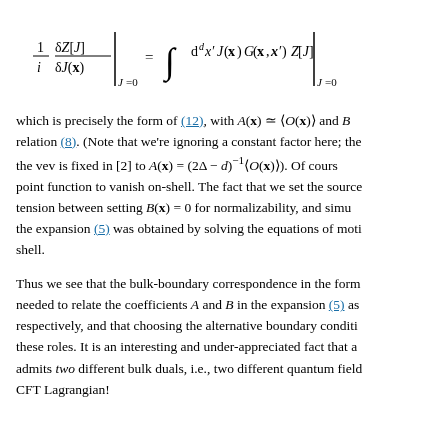which is precisely the form of (12), with A(x) ≃ ⟨O(x)⟩ and B... relation (8). (Note that we're ignoring a constant factor here; the vev is fixed in [2] to A(x) = (2Δ − d)^{−1}⟨O(x)⟩). Of course... point function to vanish on-shell. The fact that we set the source... tension between setting B(x) = 0 for normalizability, and simu... the expansion (5) was obtained by solving the equations of moti... shell.
Thus we see that the bulk-boundary correspondence in the form... needed to relate the coefficients A and B in the expansion (5) as... respectively, and that choosing the alternative boundary conditi... these roles. It is an interesting and under-appreciated fact that a... admits two different bulk duals, i.e., two different quantum fiel... CFT Lagrangian!